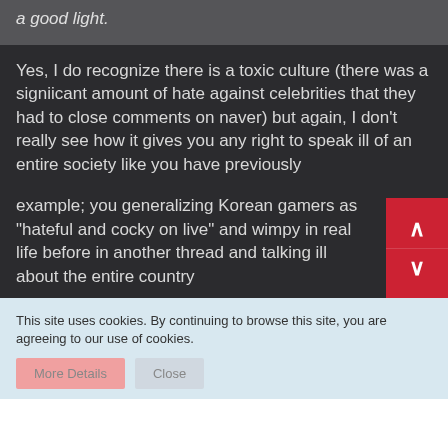a good light.
Yes, I do recognize there is a toxic culture (there was a signiicant amount of hate against celebrities that they had to close comments on naver) but again, I don't really see how it gives you any right to speak ill of an entire society like you have previously
example; you generalizing Korean gamers as "hateful and cocky on live" and wimpy in real life before in another thread and talking ill about the entire country
This site uses cookies. By continuing to browse this site, you are agreeing to our use of cookies.
More Details
Close